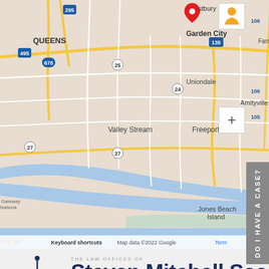[Figure (map): Google Maps screenshot showing Long Island, NY area with Queens, Garden City, Uniondale, Valley Stream, Freeport, Farmingdale, Amityville, Jones Beach Island labeled. A red location pin is placed near Garden City/Westbury area. Map includes route numbers 495, 295, 678, 25, 27, 106, 105, 135 etc. Google logo and 'Keyboard shortcuts · Map data ©2022 Google · Terms' visible at bottom.]
[Figure (logo): The Law Offices of Steven Mitchell Sack logo — scales of justice icon with S·M·S initials on an open book, accompanied by text 'THE LAW OFFICES OF Steven Mitchell Sac[k]' and tagline 'THE EMPLOYEE'S LAWYE[R]' on a grey bar.]
DO I HAVE A CASE?
pyright 2022. The Law Offices of Steven Mitchell Sack. Attorney Advertisin[g]. Rights Reserved.
The information presented in this site should not be construed to be formal [legal advice] nor the formation of a lawyer/client relationship.
Prior results do not guarantee a similar outcome.
Website designed and maintained by PR4Lawyers.